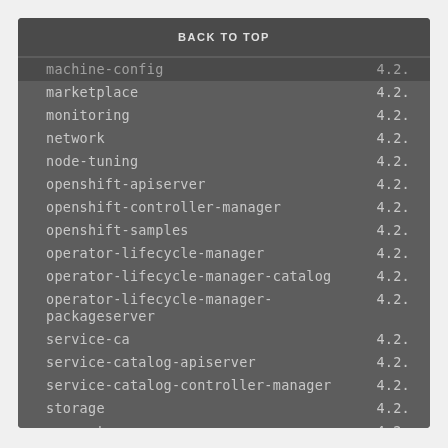BACK TO TOP
machine-config    4.2.
marketplace    4.2.
monitoring    4.2.
network    4.2.
node-tuning    4.2.
openshift-apiserver    4.2.
openshift-controller-manager    4.2.
openshift-samples    4.2.
operator-lifecycle-manager    4.2.
operator-lifecycle-manager-catalog    4.2.
operator-lifecycle-manager-packageserver    4.2.
service-ca    4.2.
service-catalog-apiserver    4.2.
service-catalog-controller-manager    4.2.
storage    4.2.
support    4.2.